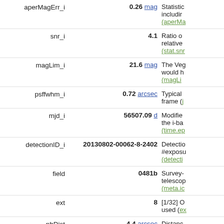| Name | Value | Description |
| --- | --- | --- |
| aperMagErr_i | 0.26 mag | Statistical error including (aperMa... |
| snr_i | 4.1 | Ratio of relative (stat.snr... |
| magLim_i | 21.6 mag | The Vega would h (magLi... |
| psffwhm_i | 0.72 arcsec | Typical frame (j... |
| mjd_i | 56507.09 d | Modified the i-ba (time.ep... |
| detectionID_i | 20130802-00062-8-2402 | Detection #exposu (detecti... |
| field | 0481b | Survey- telescop (meta.id... |
| ext | 8 | [1/32] O used (ex... |
| nbDist | 4.4 arcsec | Distanc... |